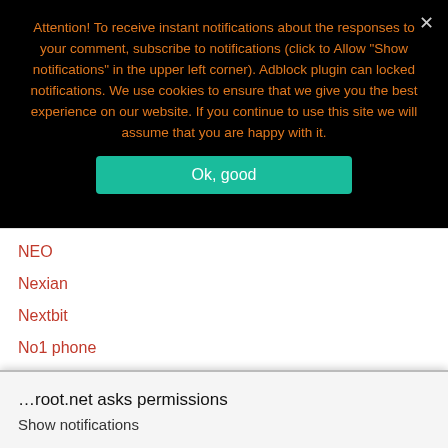Attention! To receive instant notifications about the responses to your comment, subscribe to notifications (click to Allow "Show notifications" in the upper left corner). Adblock plugin can locked notifications. We use cookies to ensure that we give you the best experience on our website. If you continue to use this site we will assume that you are happy with it.
Ok, good
NEO
Nexian
Nextbit
No1 phone
…root.net asks permissions
Show notifications
BLOCK
ALLOW